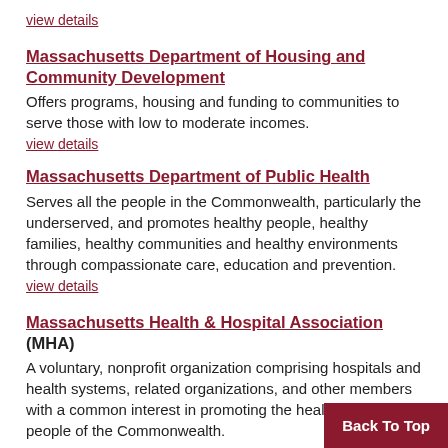view details
Massachusetts Department of Housing and Community Development
Offers programs, housing and funding to communities to serve those with low to moderate incomes.
view details
Massachusetts Department of Public Health
Serves all the people in the Commonwealth, particularly the underserved, and promotes healthy people, healthy families, healthy communities and healthy environments through compassionate care, education and prevention.
view details
Massachusetts Health & Hospital Association (MHA)
A voluntary, nonprofit organization comprising hospitals and health systems, related organizations, and other members with a common interest in promoting the health of the people of the Commonwealth.